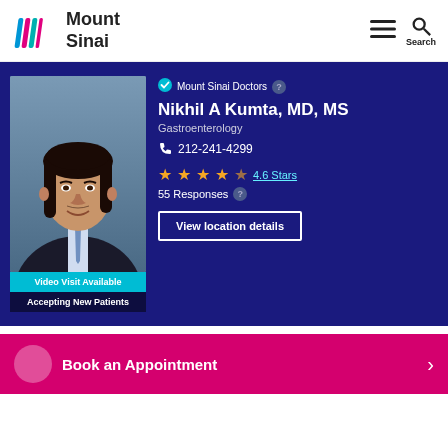[Figure (logo): Mount Sinai logo with colorful M icon and text 'Mount Sinai']
[Figure (photo): Portrait photo of Dr. Nikhil A Kumta, a man with long dark hair wearing a suit and tie, against a blue-gray background]
Video Visit Available
Accepting New Patients
Mount Sinai Doctors
Nikhil A Kumta, MD, MS
Gastroenterology
212-241-4299
4.6 Stars
55 Responses
View location details
Book an Appointment